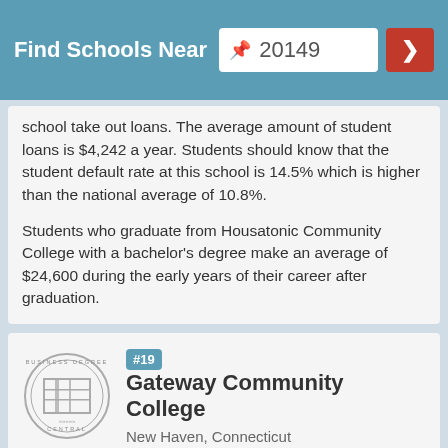Find Schools Near 20149
school take out loans. The average amount of student loans is $4,242 a year. Students should know that the student default rate at this school is 14.5% which is higher than the national average of 10.8%.
Students who graduate from Housatonic Community College with a bachelor's degree make an average of $24,600 during the early years of their career after graduation.
[Figure (logo): Business Degree Central circular logo with building/grid icon]
#19 Gateway Community College
New Haven, Connecticut